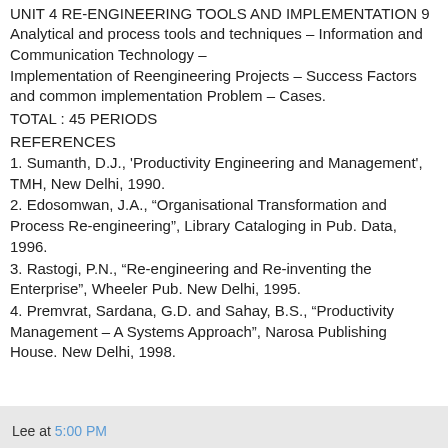UNIT 4 RE-ENGINEERING TOOLS AND IMPLEMENTATION 9
Analytical and process tools and techniques – Information and Communication Technology – Implementation of Reengineering Projects – Success Factors and common implementation Problem – Cases.
TOTAL : 45 PERIODS
REFERENCES
1. Sumanth, D.J., 'Productivity Engineering and Management', TMH, New Delhi, 1990.
2. Edosomwan, J.A., “Organisational Transformation and Process Re-engineering”, Library Cataloging in Pub. Data, 1996.
3. Rastogi, P.N., “Re-engineering and Re-inventing the Enterprise”, Wheeler Pub. New Delhi, 1995.
4. Premvrat, Sardana, G.D. and Sahay, B.S., “Productivity Management – A Systems Approach”, Narosa Publishing House. New Delhi, 1998.
Lee at 5:00 PM